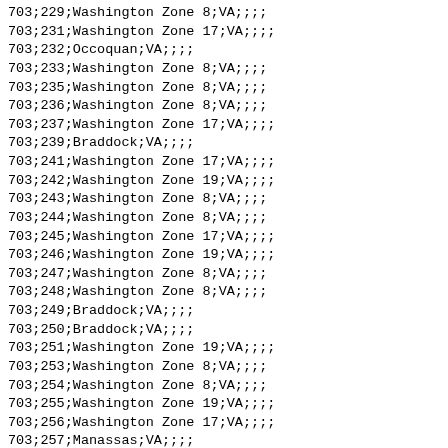703;229;Washington Zone 8;VA;;;;
703;231;Washington Zone 17;VA;;;;
703;232;Occoquan;VA;;;;
703;233;Washington Zone 8;VA;;;;
703;235;Washington Zone 8;VA;;;;
703;236;Washington Zone 8;VA;;;;
703;237;Washington Zone 17;VA;;;;
703;239;Braddock;VA;;;;
703;241;Washington Zone 17;VA;;;;
703;242;Washington Zone 19;VA;;;;
703;243;Washington Zone 8;VA;;;;
703;244;Washington Zone 8;VA;;;;
703;245;Washington Zone 17;VA;;;;
703;246;Washington Zone 19;VA;;;;
703;247;Washington Zone 8;VA;;;;
703;248;Washington Zone 8;VA;;;;
703;249;Braddock;VA;;;;
703;250;Braddock;VA;;;;
703;251;Washington Zone 19;VA;;;;
703;253;Washington Zone 8;VA;;;;
703;254;Washington Zone 8;VA;;;;
703;255;Washington Zone 19;VA;;;;
703;256;Washington Zone 17;VA;;;;
703;257;Manassas;VA;;;;
703;258;Washington Zone 8;VA;;;;
703;259;Washington Zone 19;VA;;;;
703;260;Dulles Metro;VA;;;;
703;261;Washington Zone 19;VA;;;;
703;262;Washington Zone 19;VA;;;;
703;264;Washington Zone 19;VA;;;;